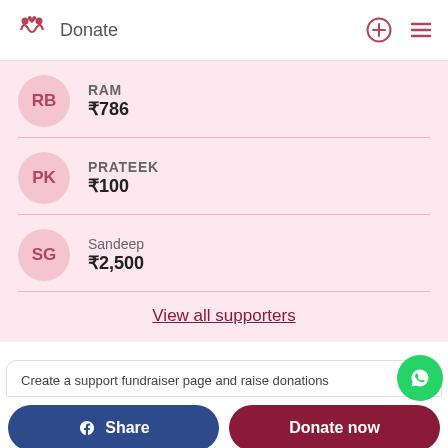Donate
RB — RAM — ₹786
PK — PRATEEK — ₹100
SG — Sandeep — ₹2,500
View all supporters
Create a support fundraiser page and raise donations